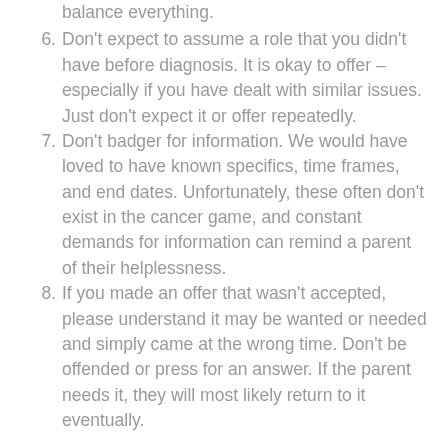balance everything.
6. Don't expect to assume a role that you didn't have before diagnosis. It is okay to offer – especially if you have dealt with similar issues. Just don't expect it or offer repeatedly.
7. Don't badger for information. We would have loved to have known specifics, time frames, and end dates. Unfortunately, these often don't exist in the cancer game, and constant demands for information can remind a parent of their helplessness.
8. If you made an offer that wasn't accepted, please understand it may be wanted or needed and simply came at the wrong time. Don't be offended or press for an answer. If the parent needs it, they will most likely return to it eventually.